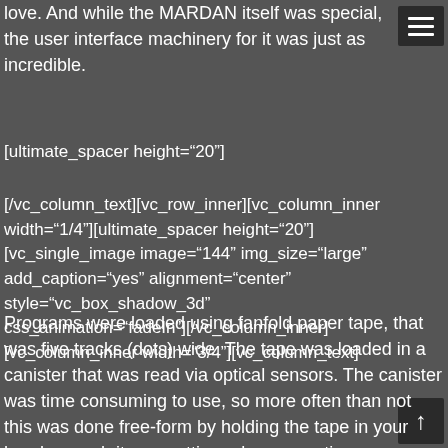love. And while the MARDAN itself was special, the user interface machinery for it was just as incredible.
[ultimate_spacer height="20"]
[/vc_column_text][vc_row_inner][vc_column_inner width="1/4"][ultimate_spacer height="20"][vc_single_image image="144" img_size="large" add_caption="yes" alignment="center" style="vc_box_shadow_3d" css_animation="fadeIn"][/vc_column_inner][vc_column_inner width="3/4"][vc_column_text]
Programs were loaded using fanfold paper tape, that was five tracks (dots) wide. The tape was loaded in a canister that was read via optical sensors. The canister was time consuming to use, so more often than not this was done free-form by holding the tape in your hand — yeah it was cutting edge computing.